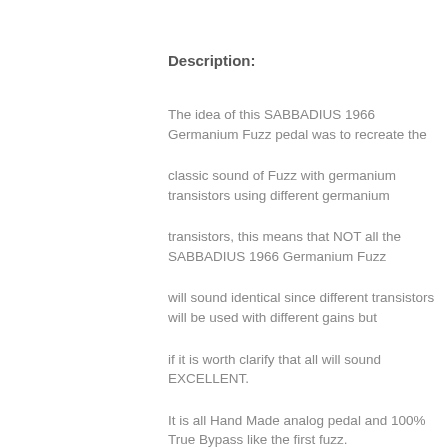Description:
The idea of this SABBADIUS 1966 Germanium Fuzz pedal was to recreate the
classic sound of Fuzz with germanium transistors using different germanium
transistors, this means that NOT all the SABBADIUS 1966 Germanium Fuzz
will sound identical since different transistors will be used with different gains but
if it is worth clarify that all will sound EXCELLENT.
It is all Hand Made analog pedal and 100% True Bypass like the first fuzz.